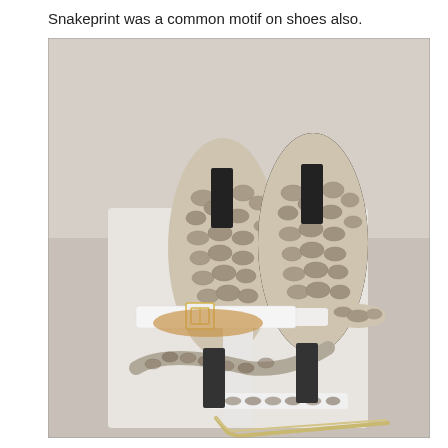Snakeprint was a common motif on shoes also.
[Figure (photo): Photograph of snakeprint shoes displayed on a shelf: a pair of snakeskin-patterned ankle boots with black elastic gusset and block heel, and a white strappy sandal with a gold buckle and snakeskin-patterned heel strap and sole strap, both shown on a white display stand against a light background.]